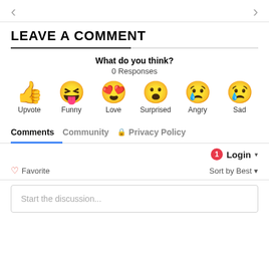[Figure (screenshot): Navigation arrows (left and right chevrons) for a slideshow or carousel]
LEAVE A COMMENT
What do you think?
0 Responses
[Figure (illustration): Six reaction emoji icons in a row: Upvote (thumbs up), Funny (laughing face with tongue), Love (heart eyes), Surprised (wide-eyed face), Angry (crying/angry face), Sad (sad face with tear). Each labeled below.]
Comments   Community   Privacy Policy
Login ▾
♡ Favorite   Sort by Best ▾
Start the discussion...